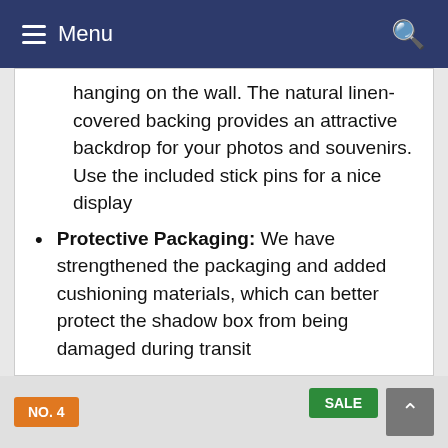Menu
hanging on the wall. The natural linen-covered backing provides an attractive backdrop for your photos and souvenirs. Use the included stick pins for a nice display
Protective Packaging: We have strengthened the packaging and added cushioning materials, which can better protect the shadow box from being damaged during transit
−18% ✓Prime
VIEW AT AMAZON
NO. 4
SALE